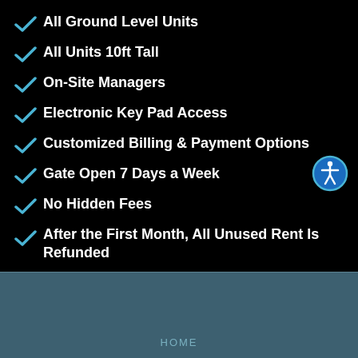All Ground Level Units
All Units 10ft Tall
On-Site Managers
Electronic Key Pad Access
Customized Billing & Payment Options
Gate Open 7 Days a Week
No Hidden Fees
After the First Month, All Unused Rent Is Refunded
HOME